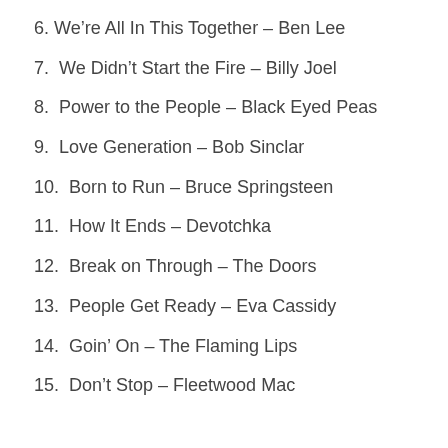6. We're All In This Together – Ben Lee
7.  We Didn't Start the Fire – Billy Joel
8.  Power to the People – Black Eyed Peas
9.  Love Generation – Bob Sinclar
10.  Born to Run – Bruce Springsteen
11.  How It Ends – Devotchka
12.  Break on Through – The Doors
13.  People Get Ready – Eva Cassidy
14.  Goin' On – The Flaming Lips
15.  Don't Stop – Fleetwood Mac